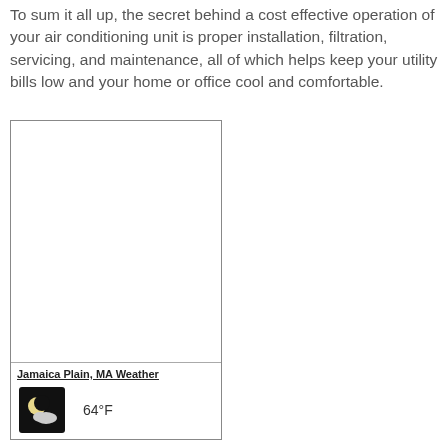To sum it all up, the secret behind a cost effective operation of your air conditioning unit is proper installation, filtration, servicing, and maintenance, all of which helps keep your utility bills low and your home or office cool and comfortable.
[Figure (other): A weather widget box showing Jamaica Plain, MA Weather with a partly cloudy/moon icon and temperature of 64°F]